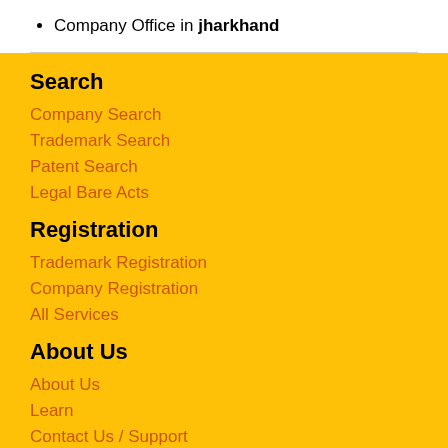Company Office in jharkhand
Search
Company Search
Trademark Search
Patent Search
Legal Bare Acts
Registration
Trademark Registration
Company Registration
All Services
About Us
About Us
Learn
Contact Us / Support